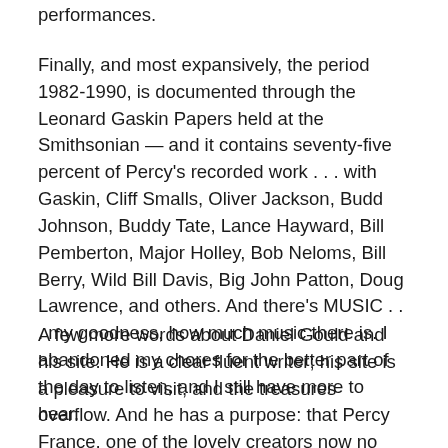performances.
Finally, and most expansively, the period 1982-1990, is documented through the Leonard Gaskin Papers held at the Smithsonian — and it contains seventy-five percent of Percy's recorded work . . . with Gaskin, Cliff Smalls, Oliver Jackson, Budd Johnson, Buddy Tate, Lance Hayward, Bill Pemberton, Major Holley, Bob Neloms, Bill Berry, Wild Bill Davis, Big John Patton, Doug Lawrence, and others. And there's MUSIC . . . my goodness, how much music there is. I abandoned my chores for the better part of the day to listen, and I still have more to hear.
A few more words about Daniel Gould and his site. He is a clear fluent writer; his site is a pleasure to visit, and the treasures overflow. And he has a purpose: that Percy France, one of the lovely creators now no longer on the planet, should be remembered with the attention and